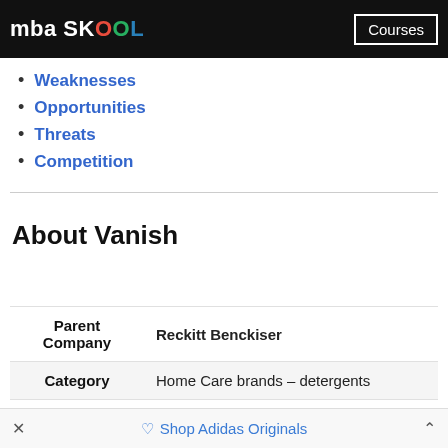mba SKOOL | Courses
Weaknesses
Opportunities
Threats
Competition
About Vanish
| Vanish Overview |
| --- |
| Parent Company | Reckitt Benckiser |
| Category | Home Care brands – detergents |
| Sector | FMCG |
× Shop Adidas Originals ^